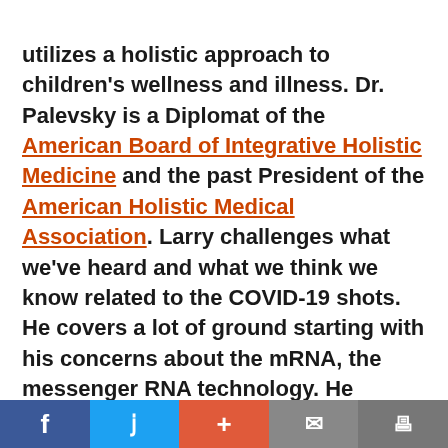utilizes a holistic approach to children's wellness and illness. Dr. Palevsky is a Diplomat of the American Board of Integrative Holistic Medicine and the past President of the American Holistic Medical Association. Larry challenges what we've heard and what we think we know related to the COVID-19 shots. He covers a lot of ground starting with his concerns about the mRNA, the messenger RNA technology. He discusses the problem with instructing the body to fight spike proteins and the damage lipid nanoparticles can do to the body. He talks about the alarming number
f  [twitter]  +  [mail]  [print]